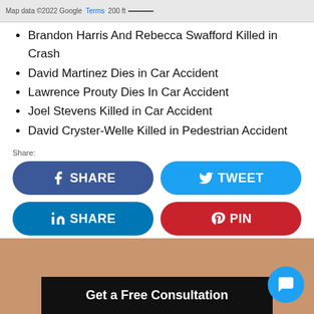[Figure (screenshot): Google Maps snippet showing map data copyright 2022 Google, Terms link, 200ft scale bar]
Brandon Harris And Rebecca Swafford Killed in Crash
David Martinez Dies in Car Accident
Lawrence Prouty Dies In Car Accident
Joel Stevens Killed in Car Accident
David Cryster-Welle Killed in Pedestrian Accident
Share:
[Figure (screenshot): Social share buttons: Facebook SHARE (dark blue), Twitter TWEET (light blue), LinkedIn SHARE (blue), Pinterest PIN (red)]
[Figure (screenshot): Bottom banner with tan/beige background and black CTA bar showing Get a Free Consultation, with blue chat bubble icon]